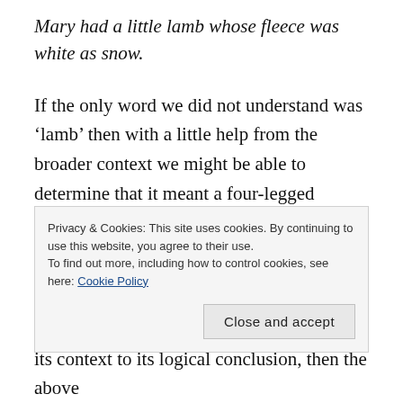Mary had a little lamb whose fleece was white as snow.
If the only word we did not understand was ‘lamb’ then with a little help from the broader context we might be able to determine that it meant a four-legged domesticated ruminant mammal whose woolly coat is used for clothing. But what if we did not know the meaning of all the words in this utterance? Unfortunately, when lexical studies are done, armed
Privacy & Cookies: This site uses cookies. By continuing to use this website, you agree to their use.
To find out more, including how to control cookies, see here: Cookie Policy
Close and accept
its context to its logical conclusion, then the above